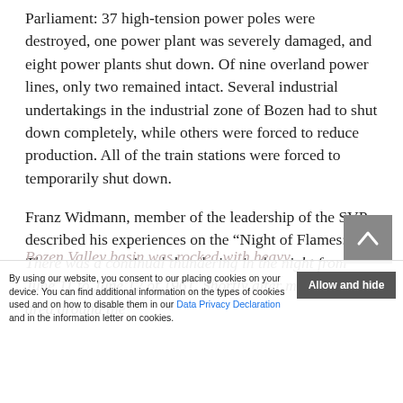Parliament: 37 high-tension power poles were destroyed, one power plant was severely damaged, and eight power plants shut down. Of nine overland power lines, only two remained intact. Several industrial undertakings in the industrial zone of Bozen had to shut down completely, while others were forced to reduce production. All of the train stations were forced to temporarily shut down.
Franz Widmann, member of the leadership of the SVP, described his experiences on the “Night of Flames:” There was a continual thundering in the night from June 11 to June 12 of 1961. Shortly after midnight, the area around the Bozen Valley basin was rocked with heavy [explosions, lighting up the sky around which the city was]
By using our website, you consent to our placing cookies on your device. You can find additional information on the types of cookies used and on how to disable them in our Data Privacy Declaration and in the information letter on cookies.